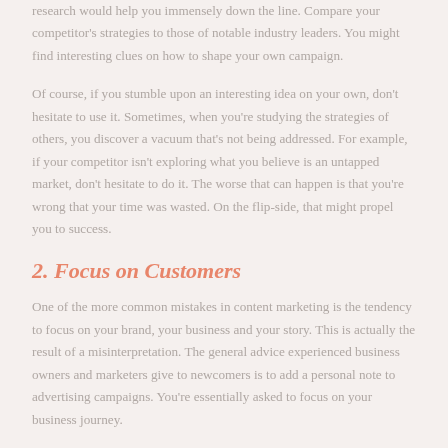research would help you immensely down the line. Compare your competitor's strategies to those of notable industry leaders. You might find interesting clues on how to shape your own campaign.
Of course, if you stumble upon an interesting idea on your own, don't hesitate to use it. Sometimes, when you're studying the strategies of others, you discover a vacuum that's not being addressed. For example, if your competitor isn't exploring what you believe is an untapped market, don't hesitate to do it. The worse that can happen is that you're wrong that your time was wasted. On the flip-side, that might propel you to success.
2. Focus on Customers
One of the more common mistakes in content marketing is the tendency to focus on your brand, your business and your story. This is actually the result of a misinterpretation. The general advice experienced business owners and marketers give to newcomers is to add a personal note to advertising campaigns. You're essentially asked to focus on your business journey.
The intention behind this advice is to get your potential client to see the